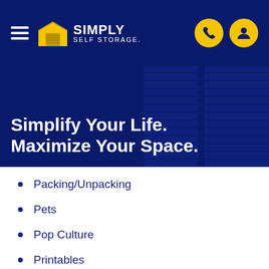[Figure (logo): Simply Self Storage logo with hamburger menu, yellow house/storage icon, white SIMPLY SELF STORAGE text, and two yellow circular icons (phone and user) on dark blue background]
Simplify Your Life. Maximize Your Space.
Packing/Unpacking
Pets
Pop Culture
Printables
Safety
Security
Self Storage